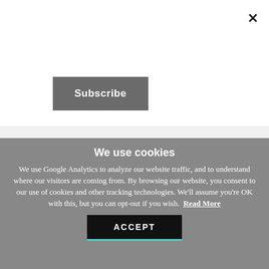×
Subscribe
NOTIFY ME OF NEW POSTS BY EMAIL.
We use cookies
We use Google Analytics to analyze our website traffic, and to understand where our visitors are coming from. By browsing our website, you consent to our use of cookies and other tracking technologies. We'll assume you're OK with this, but you can opt-out if you wish. Read More
ACCEPT